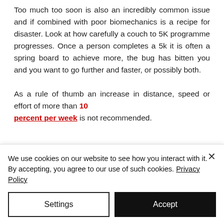Too much too soon is also an incredibly common issue and if combined with poor biomechanics is a recipe for disaster. Look at how carefully a couch to 5K programme progresses. Once a person completes a 5k it is often a spring board to achieve more, the bug has bitten you and you want to go further and faster, or possibly both.

As a rule of thumb an increase in distance, speed or effort of more than 10 percent per week is not recommended.
We use cookies on our website to see how you interact with it. By accepting, you agree to our use of such cookies. Privacy Policy